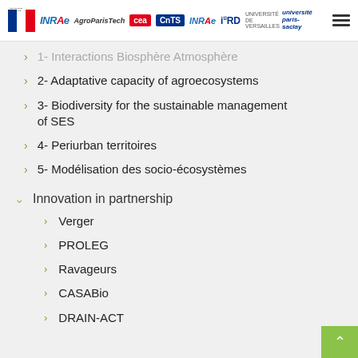République Française | INRAE | AgroParisTech | CEA | CNTS | INRAE | IRD | Université de Versailles | Université Paris-Saclay
1- Interactions Biosphère Atmosphère
2- Adaptative capacity of agroecosystems
3- Biodiversity for the sustainable management of SES
4- Periurban territoires
5- Modélisation des socio-écosystèmes
Innovation in partnership
Verger
PROLEG
Ravageurs
CASABio
DRAIN-ACT